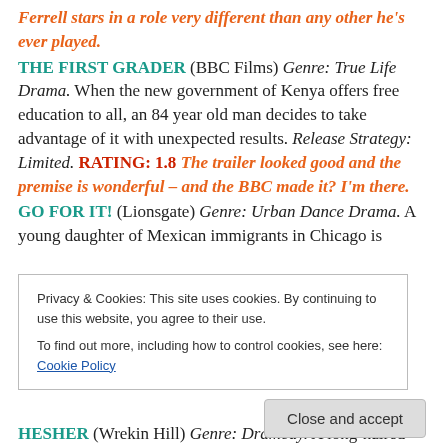Ferrell stars in a role very different than any other he's ever played.
THE FIRST GRADER (BBC Films) Genre: True Life Drama. When the new government of Kenya offers free education to all, an 84 year old man decides to take advantage of it with unexpected results. Release Strategy: Limited. RATING: 1.8 The trailer looked good and the premise is wonderful – and the BBC made it? I'm there.
GO FOR IT! (Lionsgate) Genre: Urban Dance Drama. A young daughter of Mexican immigrants in Chicago is
Privacy & Cookies: This site uses cookies. By continuing to use this website, you agree to their use.
To find out more, including how to control cookies, see here: Cookie Policy
Close and accept
HESHER (Wrekin Hill) Genre: Dramedy. A long-haired